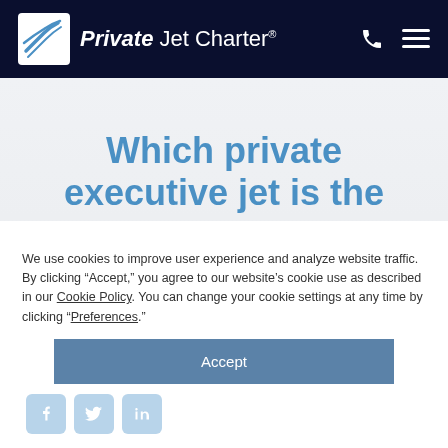[Figure (logo): Private Jet Charter logo with airplane icon on dark navy navigation bar]
Which private executive jet is the right size for your company?
We use cookies to improve user experience and analyze website traffic. By clicking “Accept,” you agree to our website’s cookie use as described in our Cookie Policy. You can change your cookie settings at any time by clicking “Preferences.”
Accept